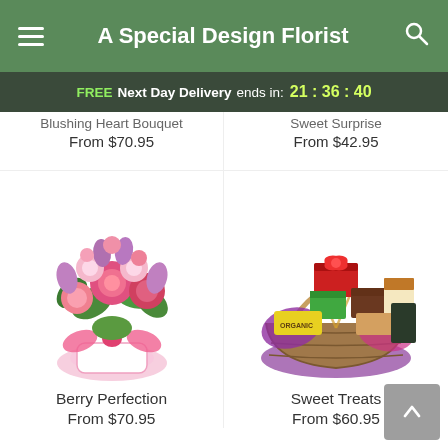A Special Design Florist
FREE Next Day Delivery ends in: 21 : 36 : 40
Blushing Heart Bouquet
From $70.95
Sweet Surprise
From $42.95
[Figure (photo): Berry Perfection flower bouquet with pink roses, carnations, and alstroemeria in a white vase with pink ribbon]
Berry Perfection
From $70.95
[Figure (photo): Sweet Treats gift basket filled with snacks, candy, and treats wrapped in purple tissue paper]
Sweet Treats
From $60.95